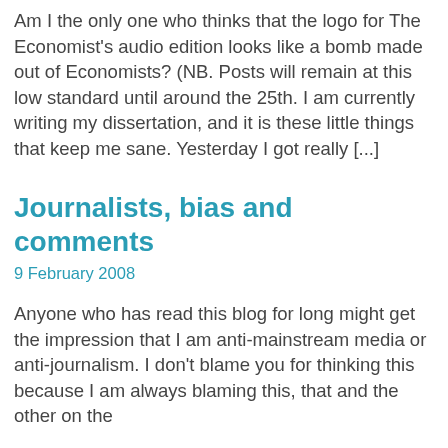Am I the only one who thinks that the logo for The Economist's audio edition looks like a bomb made out of Economists? (NB. Posts will remain at this low standard until around the 25th. I am currently writing my dissertation, and it is these little things that keep me sane. Yesterday I got really [...]
Journalists, bias and comments
9 February 2008
Anyone who has read this blog for long might get the impression that I am anti-mainstream media or anti-journalism. I don't blame you for thinking this because I am always blaming this, that and the other on the